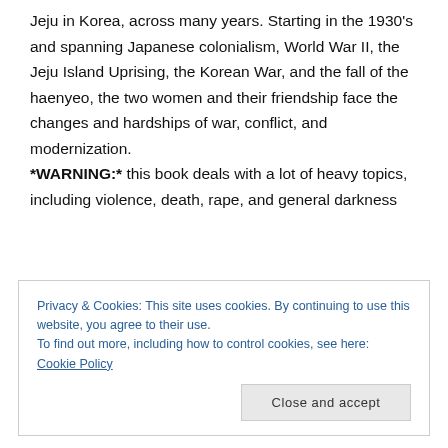Jeju in Korea, across many years. Starting in the 1930's and spanning Japanese colonialism, World War II, the Jeju Island Uprising, the Korean War, and the fall of the haenyeo, the two women and their friendship face the changes and hardships of war, conflict, and modernization. *WARNING:* this book deals with a lot of heavy topics, including violence, death, rape, and general darkness
Privacy & Cookies: This site uses cookies. By continuing to use this website, you agree to their use. To find out more, including how to control cookies, see here: Cookie Policy